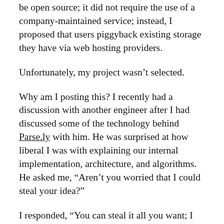be open source; it did not require the use of a company-maintained service; instead, I proposed that users piggyback existing storage they have via web hosting providers.
Unfortunately, my project wasn't selected.
Why am I posting this? I recently had a discussion with another engineer after I had discussed some of the technology behind Parse.ly with him. He was surprised at how liberal I was with explaining our internal implementation, architecture, and algorithms. He asked me, “Aren’t you worried that I could steal your idea?”
I responded, “You can steal it all you want; I dare you to try and implement it!” I then explained that to me, ideas don’t matter. I had the idea for a hundred startups that now exist before they started. I know